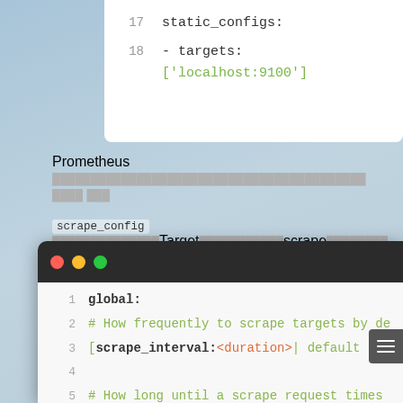[Figure (screenshot): Code snippet showing lines 17-18 of a Prometheus config: static_configs: and - targets: ['localhost:9100'] on white background]
Prometheus ████████████████████████████████████████ ████ ███ scrape_config ██████████████Target███████████scrape████████ Job██████ scrape_config ██████████████Target████ static_configs █████████████Prometheus████████████████
[Figure (screenshot): Terminal window with dark title bar (red/yellow/green dots) showing Prometheus YAML config lines 1-10: global:, scrape_interval, scrape_timeout, evaluation_interval with comments and bracket notation]